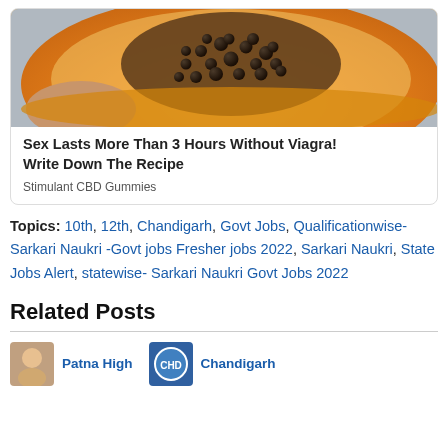[Figure (photo): Close-up photo of a sliced papaya held in hand, showing orange flesh and black seeds]
Sex Lasts More Than 3 Hours Without Viagra! Write Down The Recipe
Stimulant CBD Gummies
Topics: 10th, 12th, Chandigarh, Govt Jobs, Qualificationwise- Sarkari Naukri -Govt jobs Fresher jobs 2022, Sarkari Naukri, State Jobs Alert, statewise- Sarkari Naukri Govt Jobs 2022
Related Posts
Patna High
Chandigarh